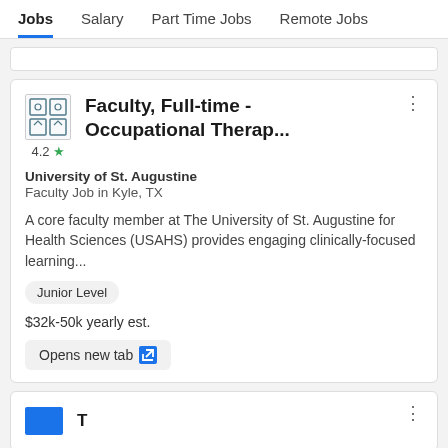Jobs  Salary  Part Time Jobs  Remote Jobs
Faculty, Full-time - Occupational Therap...
University of St. Augustine
Faculty Job in Kyle, TX
A core faculty member at The University of St. Augustine for Health Sciences (USAHS) provides engaging clinically-focused learning...
Junior Level
$32k-50k yearly est.
Opens new tab